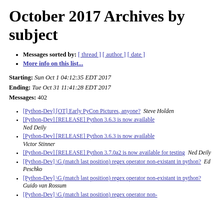October 2017 Archives by subject
Messages sorted by: [ thread ] [ author ] [ date ]
More info on this list...
Starting: Sun Oct 1 04:12:35 EDT 2017
Ending: Tue Oct 31 11:41:28 EDT 2017
Messages: 402
[Python-Dev] [OT] Early PyCon Pictures, anyone?  Steve Holden
[Python-Dev] [RELEASE] Python 3.6.3 is now available  Ned Deily
[Python-Dev] [RELEASE] Python 3.6.3 is now available  Victor Stinner
[Python-Dev] [RELEASE] Python 3.7.0a2 is now available for testing  Ned Deily
[Python-Dev] \G (match last position) regex operator non-existant in python?  Ed Peschko
[Python-Dev] \G (match last position) regex operator non-existant in python?  Guido van Rossum
[Python-Dev] \G (match last position) regex operator non-...